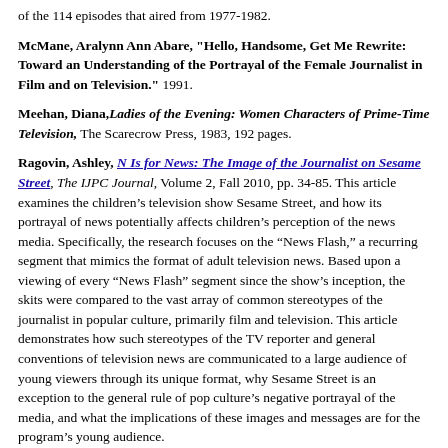of the 114 episodes that aired from 1977-1982.
McMane, Aralynn Ann Abare, "Hello, Handsome, Get Me Rewrite: Toward an Understanding of the Portrayal of the Female Journalist in Film and on Television." 1991.
Meehan, Diana, Ladies of the Evening: Women Characters of Prime-Time Television, The Scarecrow Press, 1983, 192 pages.
Ragovin, Ashley, N Is for News: The Image of the Journalist on Sesame Street, The IJPC Journal, Volume 2, Fall 2010, pp. 34-85. This article examines the children's television show Sesame Street, and how its portrayal of news potentially affects children's perception of the news media. Specifically, the research focuses on the “News Flash,” a recurring segment that mimics the format of adult television news. Based upon a viewing of every “News Flash” segment since the show’s inception, the skits were compared to the vast array of common stereotypes of the journalist in popular culture, primarily film and television. This article demonstrates how such stereotypes of the TV reporter and general conventions of television news are communicated to a large audience of young viewers through its unique format, why Sesame Street is an exception to the general rule of pop culture’s negative portrayal of the media, and what the implications of these images and messages are for the program’s young audience.
Ryan, Joal, "Lou Grant Made Me Do It (How Hollywood Portrayals of Reporters Affect Budding Journalists," American Journalism Review, November 1996, Volume 18, Number 9, Page